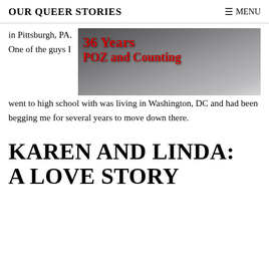OUR QUEER STORIES | MENU
in Pittsburgh, PA. One of the guys I went to high school with was living in Washington, DC and had been begging me for several years to move down there.
[Figure (photo): Banner image with red bold text reading '36 Years POZ and Counting' overlaid on a dark background with a person wearing a white shirt]
KAREN AND LINDA: A LOVE STORY